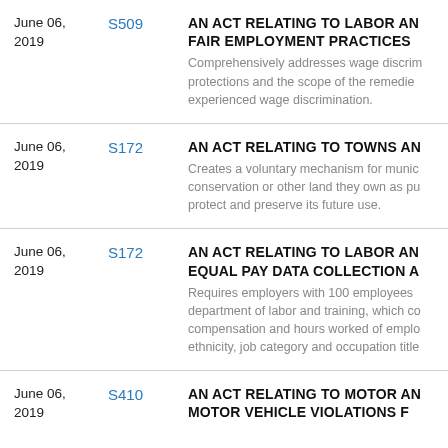June 06, 2019 | S509 | AN ACT RELATING TO LABOR AND FAIR EMPLOYMENT PRACTICES | Comprehensively addresses wage discrimination protections and the scope of the remedies experienced wage discrimination.
June 06, 2019 | S172 | AN ACT RELATING TO TOWNS AND | Creates a voluntary mechanism for municipalities for conservation or other land they own as public land to protect and preserve its future use.
June 06, 2019 | S172 | AN ACT RELATING TO LABOR AND EQUAL PAY DATA COLLECTION A | Requires employers with 100 employees to report to the department of labor and training, which collects data on compensation and hours worked of employees by sex, race, ethnicity, job category and occupation title.
June 06, 2019 | S410 | AN ACT RELATING TO MOTOR AND MOTOR VEHICLE VIOLATIONS F